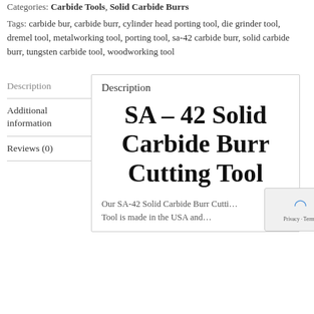Categories: Carbide Tools, Solid Carbide Burrs
Tags: carbide bur, carbide burr, cylinder head porting tool, die grinder tool, dremel tool, metalworking tool, porting tool, sa-42 carbide burr, solid carbide burr, tungsten carbide tool, woodworking tool
Description
Additional information
Reviews (0)
Description
SA – 42 Solid Carbide Burr Cutting Tool
Our SA-42 Solid Carbide Burr Cutti… Tool is made in the USA and…